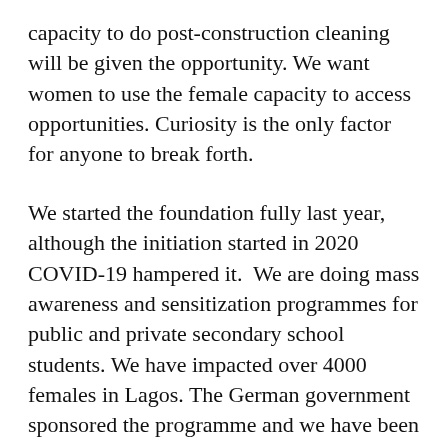capacity to do post-construction cleaning will be given the opportunity. We want women to use the female capacity to access opportunities. Curiosity is the only factor for anyone to break forth.
We started the foundation fully last year, although the initiation started in 2020 COVID-19 hampered it.  We are doing mass awareness and sensitization programmes for public and private secondary school students. We have impacted over 4000 females in Lagos. The German government sponsored the programme and we have been doing it in partnership with Lagos state. The Lagos government, through the education ministry, gave us permission to go to